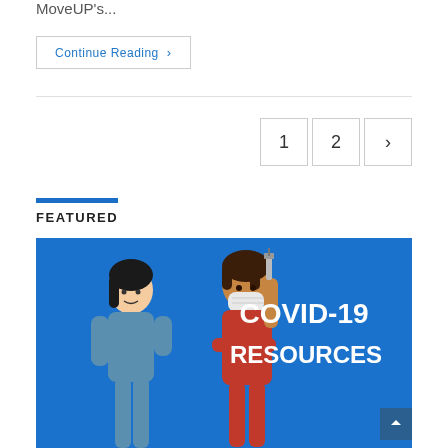MoveUP's...
Continue Reading ›
1  2  ›
FEATURED
[Figure (illustration): Blue banner with two illustrated figures — one in a blue medical outfit and one in a red outfit wearing a face mask holding a syringe — with text 'COVID-19 RESOURCES' in white bold letters on the right side.]